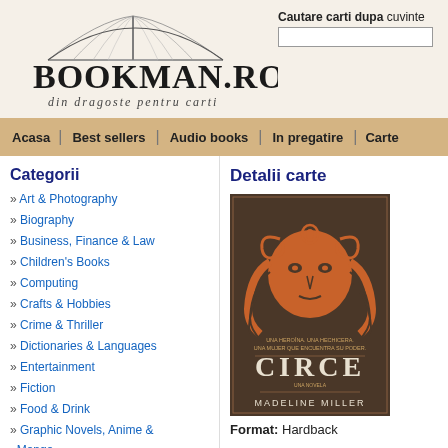[Figure (logo): Bookman.ro logo with open book illustration above the text]
Cautare carti dupa cuvinte
Acasa | Best sellers | Audio books | In pregatire | Carte
Categorii
» Art & Photography
» Biography
» Business, Finance & Law
» Children's Books
» Computing
» Crafts & Hobbies
» Crime & Thriller
» Dictionaries & Languages
» Entertainment
» Fiction
» Food & Drink
» Graphic Novels, Anime & Manga
» Health
Detalii carte
[Figure (photo): Book cover of Circe by Madeline Miller - orange illustrated face with braids on dark brown background]
Format: Hardback